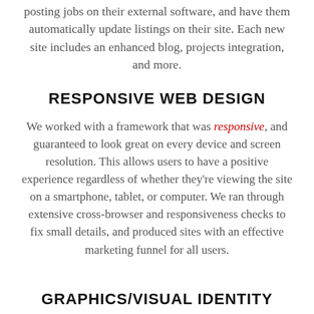posting jobs on their external software, and have them automatically update listings on their site. Each new site includes an enhanced blog, projects integration, and more.
RESPONSIVE WEB DESIGN
We worked with a framework that was responsive, and guaranteed to look great on every device and screen resolution. This allows users to have a positive experience regardless of whether they're viewing the site on a smartphone, tablet, or computer. We ran through extensive cross-browser and responsiveness checks to fix small details, and produced sites with an effective marketing funnel for all users.
GRAPHICS/VISUAL IDENTITY